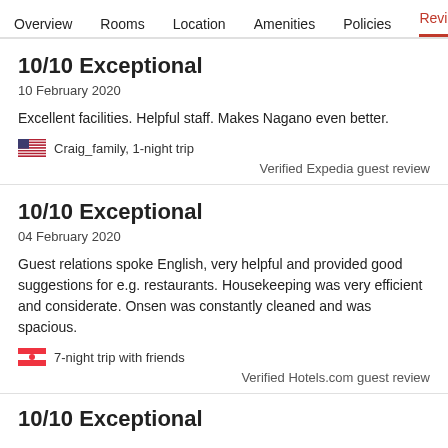Overview  Rooms  Location  Amenities  Policies  Reviews
10/10 Exceptional
10 February 2020
Excellent facilities. Helpful staff. Makes Nagano even better.
Craig_family, 1-night trip
Verified Expedia guest review
10/10 Exceptional
04 February 2020
Guest relations spoke English, very helpful and provided good suggestions for e.g. restaurants. Housekeeping was very efficient and considerate. Onsen was constantly cleaned and was spacious.
7-night trip with friends
Verified Hotels.com guest review
10/10 Exceptional